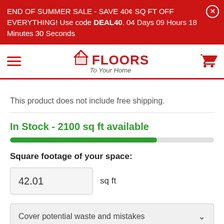END OF SUMMER SALE - SAVE 40¢ SQ FT OFF EVERYTHING! Use code DEAL40. 04 Days 09 Hours 18 Minutes 30 Seconds
[Figure (logo): Floors To Your Home logo with house icon]
This product does not include free shipping.
In Stock - 2100 sq ft available
Square footage of your space:
42.01 sq ft
Cover potential waste and mistakes